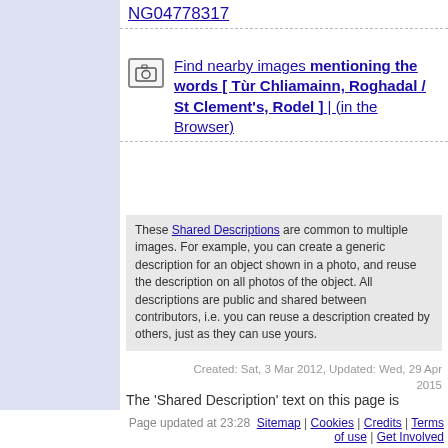NG04778317
Find nearby images mentioning the words [ Tùr Chliamainn, Roghadal / St Clement's, Rodel ] | (in the Browser)
These Shared Descriptions are common to multiple images. For example, you can create a generic description for an object shown in a photo, and reuse the description on all photos of the object. All descriptions are public and shared between contributors, i.e. you can reuse a description created by others, just as they can use yours.
Created: Sat, 3 Mar 2012, Updated: Wed, 29 Apr 2015
The 'Shared Description' text on this page is Copyright 2012 Rob Farrow, however it is specifically licensed so that contributors can reuse it on their own images without restriction.
Page updated at 23:28  Sitemap | Cookies | Credits | Terms of use | Get Involved